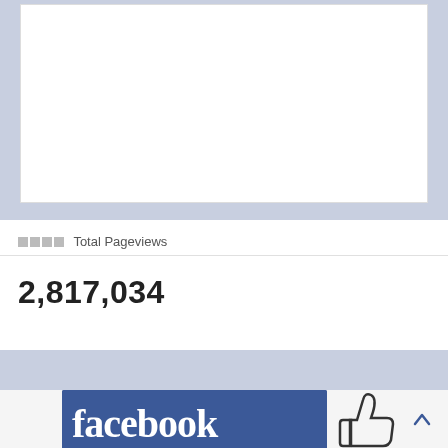[Figure (screenshot): White box area on a light blue-grey background, representing a content area or screenshot region]
▪▪▪▪ Total Pageviews
2,817,034
[Figure (logo): Facebook logo on blue background with thumbs up like icon and up arrow navigation element]